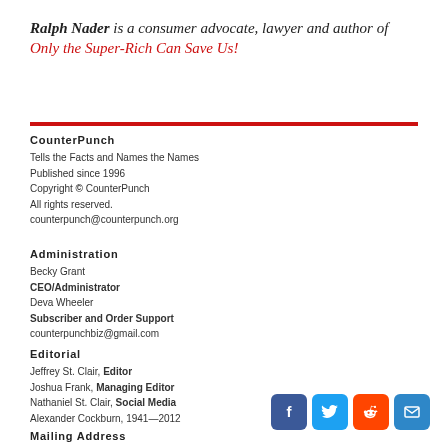Ralph Nader is a consumer advocate, lawyer and author of Only the Super-Rich Can Save Us!
CounterPunch
Tells the Facts and Names the Names
Published since 1996
Copyright © CounterPunch
All rights reserved.
counterpunch@counterpunch.org
Administration
Becky Grant
CEO/Administrator
Deva Wheeler
Subscriber and Order Support
counterpunchbiz@gmail.com
Editorial
Jeffrey St. Clair, Editor
Joshua Frank, Managing Editor
Nathaniel St. Clair, Social Media
Alexander Cockburn, 1941—2012
Mailing Address